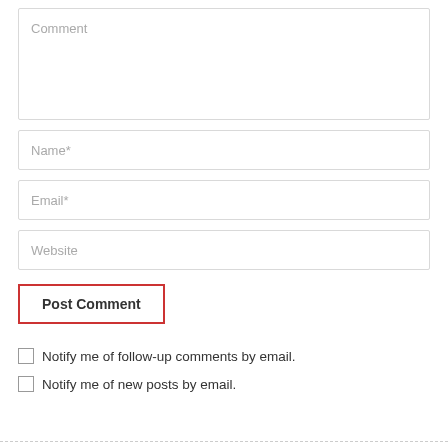Comment
Name*
Email*
Website
Post Comment
Notify me of follow-up comments by email.
Notify me of new posts by email.